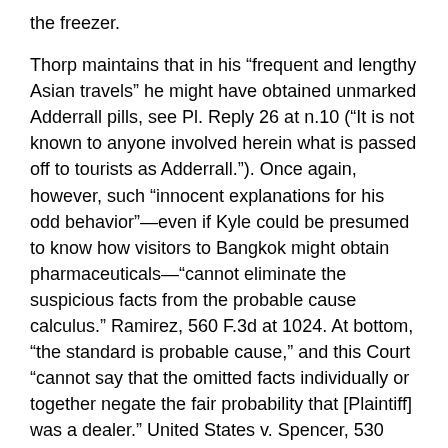the freezer.
Thorp maintains that in his “frequent and lengthy Asian travels” he might have obtained unmarked Adderrall pills, see Pl. Reply 26 at n.10 (“It is not known to anyone involved herein what is passed off to tourists as Adderrall.”). Once again, however, such “innocent explanations for his odd behavior”—even if Kyle could be presumed to know how visitors to Bangkok might obtain pharmaceuticals—“cannot eliminate the suspicious facts from the probable cause calculus.” Ramirez, 560 F.3d at 1024. At bottom, “the standard is probable cause,” and this Court “cannot say that the omitted facts individually or together negate the fair probability that [Plaintiff] was a dealer.” United States v. Spencer, 530 F.3d 1003, 1008 (D.C. Cir. 2008) (quotation omitted).
5. Field Test
Before obtaining the second warrant, the officers, at Kyle’s